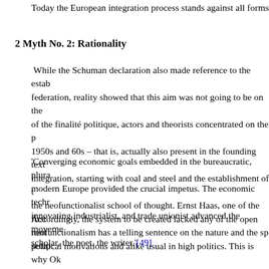Today the European integration process stands against all forms
2 Myth No. 2: Rationality
While the Schuman declaration also made reference to the establishment of a federation, reality showed that this aim was not going to be on the agenda. Short of the finalité politique, actors and theorists concentrated on the process itself. The 1950s and 60s – that is, actually also present in the founding texts – is a process of integration, starting with coal and steel and the establishment of the ECSC, mirroring the neofunctionalist school of thought. Ernst Haas, one of the first major proponents of neofunctionalism has a telling sentence on the nature and the spirit of the institutional setup:
'Converging economic goals embedded in the bureaucratic, pluralistic setting of modern Europe provided the crucial impetus. The economic technocrat, the innovating industrialist, and trade unionist advanced the movement; not the scholar, the poet, the writer.'[49]
Accordingly, the system to be created lacked any of the open romantic or political motivations and alike usual in high politics. This is why Olsen argues that until 1992 the European project lacked any mythical foundation.[50] Williams demonstrated that neo-functionalist anti-political sentiment created its own myth, the myth of rationality.[51] The elements of this myth are low politics, the Monnet method (or the Monnet-method), where institutions independent of governments would make rational policy (and not political) decisions and the i